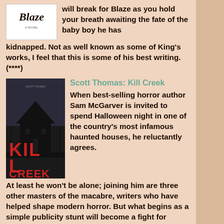[Figure (illustration): Book cover of 'Blaze' by Stephen King (written as Richard Bachman) - shows stylized text 'Blaze' on white background]
will break for Blaze as you hold your breath awaiting the fate of the baby boy he has kidnapped. Not as well known as some of King's works, I feel that this is some of his best writing. (****)
[Figure (illustration): Book cover of 'Kill Creek' by Scott Thomas - dark image of a haunted house with red title text]
Scott Thomas: Kill Creek
When best-selling horror author Sam McGarver is invited to spend Halloween night in one of the country's most infamous haunted houses, he reluctantly agrees. At least he won't be alone; joining him are three other masters of the macabre, writers who have helped shape modern horror. But what begins as a simple publicity stunt will become a fight for survival. The entity they have awakened will follow them, torment them, threatening to make them a part of the